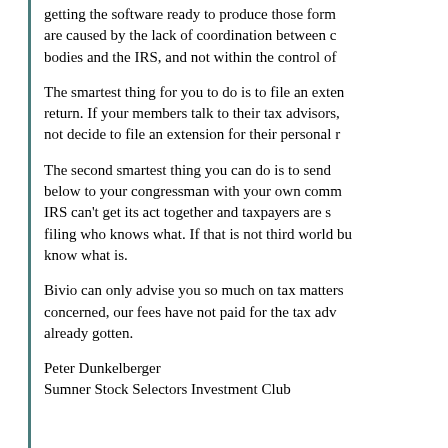getting the software ready to produce those forms are caused by the lack of coordination between bodies and the IRS, and not within the control of
The smartest thing for you to do is to file an extension return. If your members talk to their tax advisors, not decide to file an extension for their personal r
The second smartest thing you can do is to send below to your congressman with your own comments. IRS can't get its act together and taxpayers are still filing who knows what. If that is not third world bu know what is.
Bivio can only advise you so much on tax matters concerned, our fees have not paid for the tax advice already gotten.
Peter Dunkelberger
Sumner Stock Selectors Investment Club